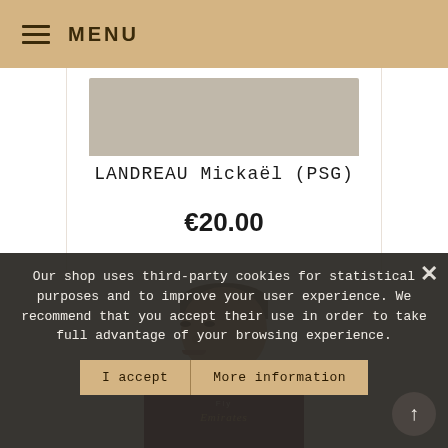Menu
[Figure (photo): Partial cropped photo of a football player from above, showing bottom portion of jersey against light background]
LANDREAU Mickaël (PSG)
€20.00
[Figure (photo): Photo of a football player (male, light-skinned, short brown hair) wearing a dark maroon/burgundy jersey with Fly Emirates logo, white background]
Our shop uses third-party cookies for statistical purposes and to improve your user experience. We recommend that you accept their use in order to take full advantage of your browsing experience.
I accept
More information